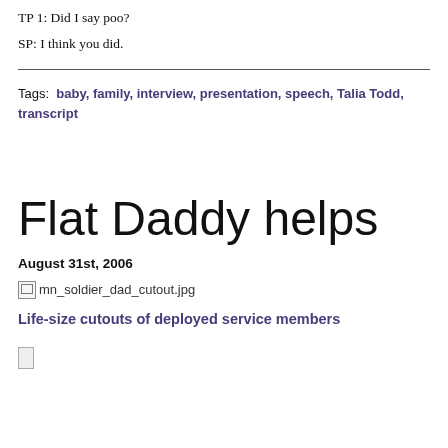TP 1: Did I say poo?
SP: I think you did.
Tags: baby, family, interview, presentation, speech, Talia Todd, transcript
Flat Daddy helps
August 31st, 2006
[Figure (photo): Broken image placeholder for mn_soldier_dad_cutout.jpg]
Life-size cutouts of deployed service members